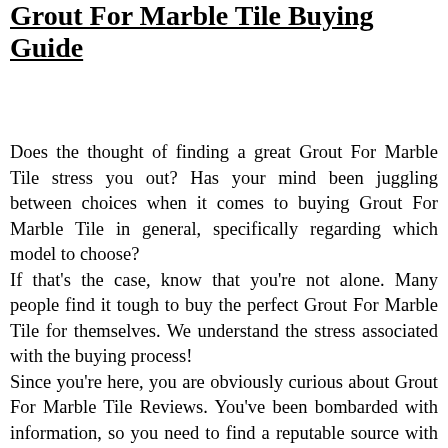Grout For Marble Tile Buying Guide
Does the thought of finding a great Grout For Marble Tile stress you out? Has your mind been juggling between choices when it comes to buying Grout For Marble Tile in general, specifically regarding which model to choose? If that's the case, know that you're not alone. Many people find it tough to buy the perfect Grout For Marble Tile for themselves. We understand the stress associated with the buying process! Since you're here, you are obviously curious about Grout For Marble Tile Reviews. You've been bombarded with information, so you need to find a reputable source with credible options before you make any decisions on which product would be best for your needs.